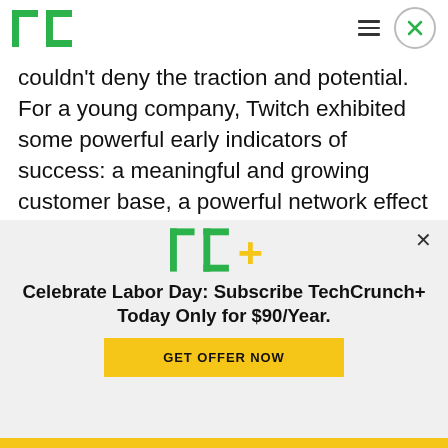TechCrunch header with logo, hamburger menu, and close button
couldn't deny the traction and potential. For a young company, Twitch exhibited some powerful early indicators of success: a meaningful and growing customer base, a powerful network effect and very strong engagement. We wanted to invest.
Conclusion
We are excited to invest in a fast-growing video community site with a very passionate...
[Figure (logo): TechCrunch+ TC+ logo in modal overlay]
Celebrate Labor Day: Subscribe TechCrunch+ Today Only for $90/Year.
GET OFFER NOW